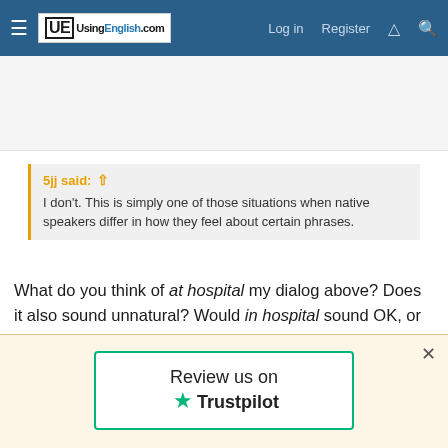UsingEnglish.com — Log in | Register
[Figure (other): Advertisement/banner area (white/gray blank space)]
5jj said: ↑
I don't. This is simply one of those situations when native speakers differ in how they feel about certain phrases.
What do you think of at hospital my dialog above? Does it also sound unnatural? Would in hospital sound OK, or only in/at the hospital would fit?
5jj   Joined:   Oct 14, 2010
Review us on ★ Trustpilot